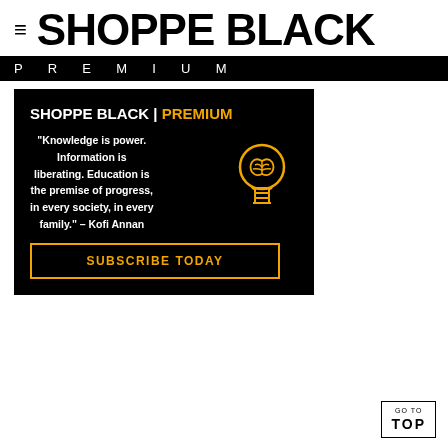≡ SHOPPE BLACK
PREMIUM
[Figure (infographic): Black background advertisement for SHOPPE BLACK PREMIUM featuring the quote 'Knowledge is power. Information is liberating. Education is the premise of progress, in every society, in every family.' – Kofi Annan, with a golden lightbulb/brain icon and a SUBSCRIBE TODAY button with gold border.]
GO TO TOP